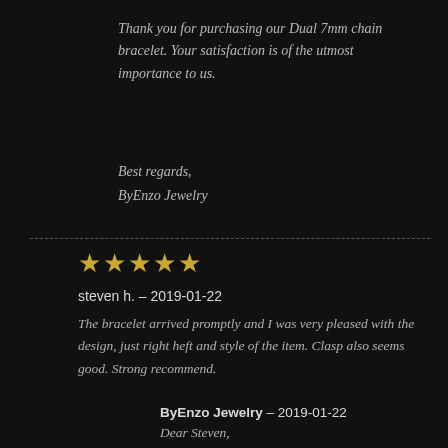Thank you for purchasing our Dual 7mm chain bracelet. Your satisfaction is of the utmost importance to us.
Best regards,
ByEnzo Jewelry
[Figure (other): Dashed horizontal divider line]
[Figure (other): Five gold star rating icons]
steven h. – 2019-01-22
The bracelet arrived promptly and I was very pleased with the design, just right heft and style of the item. Clasp also seems good. Strong recommend.
ByEnzo Jewelry – 2019-01-22
Dear Steven,